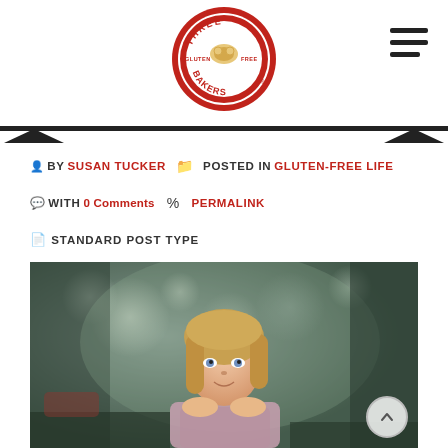[Figure (logo): Three Bakers Gluten Free circular red and white logo]
BY SUSAN TUCKER  POSTED IN GLUTEN-FREE LIFE
WITH 0 COMMENTS  PERMALINK
STANDARD POST TYPE
[Figure (photo): Portrait photo of a young blonde girl with blue eyes, smiling at camera, bokeh background of green trees]